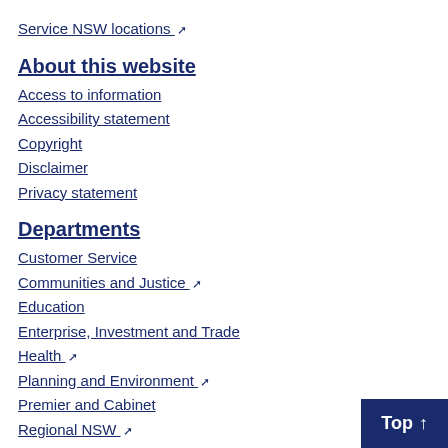Service NSW locations ↗
About this website
Access to information
Accessibility statement
Copyright
Disclaimer
Privacy statement
Departments
Customer Service
Communities and Justice ↗
Education
Enterprise, Investment and Trade
Health ↗
Planning and Environment ↗
Premier and Cabinet
Regional NSW ↗